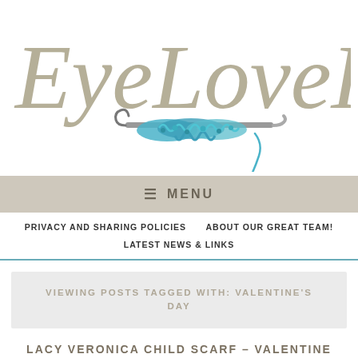[Figure (logo): EyeLoveKnots logo with cursive script text and a crochet hook with teal yarn illustration]
≡ MENU
PRIVACY AND SHARING POLICIES   ABOUT OUR GREAT TEAM!   LATEST NEWS & LINKS
VIEWING POSTS TAGGED WITH: VALENTINE'S DAY
LACY VERONICA CHILD SCARF – VALENTINE INSPIRED – FREE CROCHET PATTERN